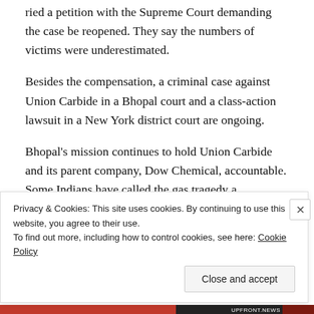ried a petition with the Supreme Court demanding the case be reopened. They say the numbers of victims were underestimated.
Besides the compensation, a criminal case against Union Carbide in a Bhopal court and a class-action lawsuit in a New York district court are ongoing.
Bhopal's mission continues to hold Union Carbide and its parent company, Dow Chemical, accountable. Some Indians have called the gas tragedy a holocaust.
Privacy & Cookies: This site uses cookies. By continuing to use this website, you agree to their use.
To find out more, including how to control cookies, see here: Cookie Policy